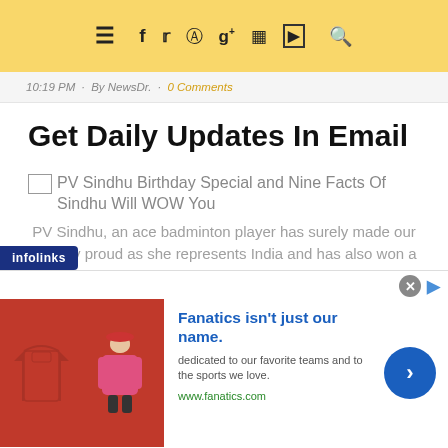≡  f  🐦  ℗  g+  📷  ▶  🔍
10:19 PM · By NewsDr. · 0 Comments
Get Daily Updates In Email
[Figure (other): Broken image placeholder followed by link text: PV Sindhu Birthday Special and Nine Facts Of Sindhu Will WOW You]
PV Sindhu, an ace badminton player has surely made our country proud as she represents India and has also won a number of medals. The ace badminton
[Figure (other): Advertisement banner: Fanatics isn't just our name. dedicated to our favorite teams and to the sports we love. www.fanatics.com. With product images and a blue CTA button.]